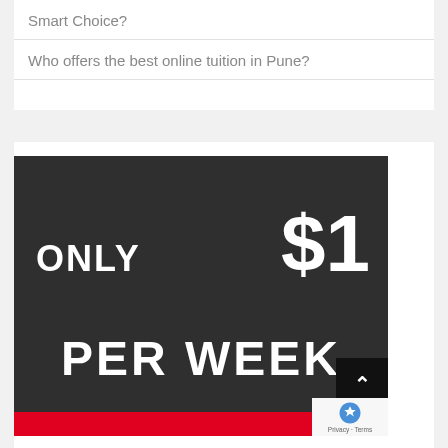Smart Choice?
Who offers the best online tuition in Pune?
[Figure (infographic): Dark background advertisement image with large white bold text reading 'ONLY $1 PER WEEK' and a red bar at the bottom]
Privacy · Terms